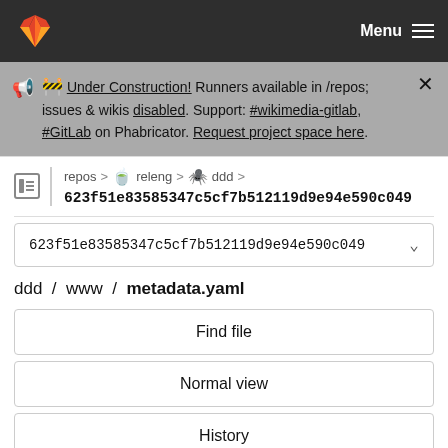GitLab Menu
🚧 Under Construction! Runners available in /repos; issues & wikis disabled. Support: #wikimedia-gitlab, #GitLab on Phabricator. Request project space here.
repos > releng > ddd > 623f51e83585347c5cf7b512119d9e94e590c049
623f51e83585347c5cf7b512119d9e94e590c049
ddd / www / metadata.yaml
Find file
Normal view
History
Permalink